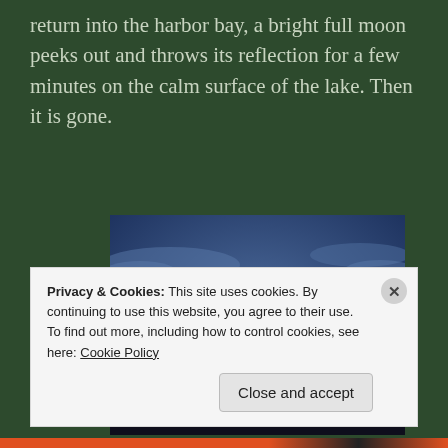return into the harbor bay, a bright full moon peeks out and throws its reflection for a few minutes on the calm surface of the lake. Then it is gone.
[Figure (photo): Photograph of a full moon glowing through thin clouds against a deep blue dusk sky, with dark silhouetted hills along the bottom horizon.]
Privacy & Cookies: This site uses cookies. By continuing to use this website, you agree to their use.
To find out more, including how to control cookies, see here: Cookie Policy